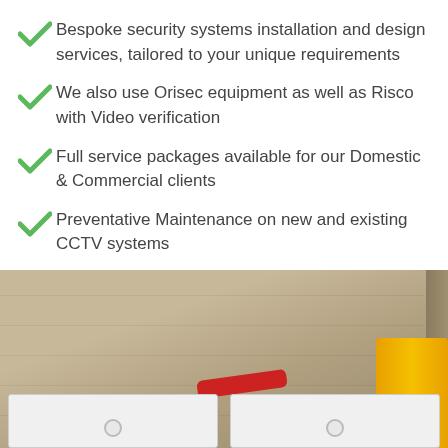Bespoke security systems installation and design services, tailored to your unique requirements
We also use Orisec equipment as well as Risco with Video verification
Full service packages available for our Domestic & Commercial clients
Preventative Maintenance on new and existing CCTV systems
Police response
[Figure (photo): Photo of security equipment including white alarm boxes mounted on a fiberboard/MDF board background, with red cables and a yellow cylindrical object visible]